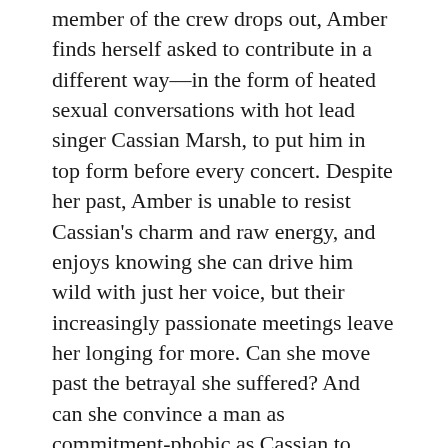member of the crew drops out, Amber finds herself asked to contribute in a different way—in the form of heated sexual conversations with hot lead singer Cassian Marsh, to put him in top form before every concert. Despite her past, Amber is unable to resist Cassian's charm and raw energy, and enjoys knowing she can drive him wild with just her voice, but their increasingly passionate meetings leave her longing for more. Can she move past the betrayal she suffered? And can she convince a man as commitment-phobic as Cassian to break his no-dating rule and let her into his heart?
Excerpt
A flash of light, the howl of guitars and the air filled with anticipation. The show was about to start. Shielded from the crowd's gaze, Amber